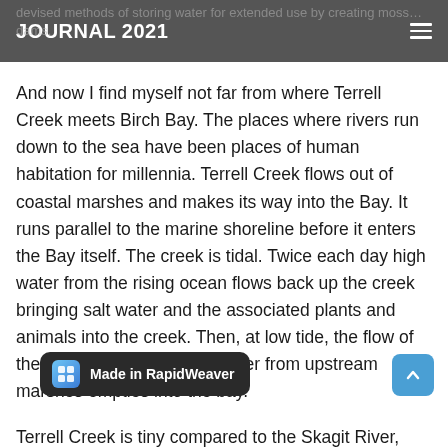JOURNAL 2021
And now I find myself not far from where Terrell Creek meets Birch Bay. The places where rivers run down to the sea have been places of human habitation for millennia. Terrell Creek flows out of coastal marshes and makes its way into the Bay. It runs parallel to the marine shoreline before it enters the Bay itself. The creek is tidal. Twice each day high water from the rising ocean flows back up the creek bringing salt water and the associated plants and animals into the creek. Then, at low tide, the flow of the creek is reversed and water from upstream marshes empties into the bay.
Terrell Creek is tiny compared to the Skagit River, near where we lived for our first year in Washington.
Yesterday we were back in the town of Mount Vernon